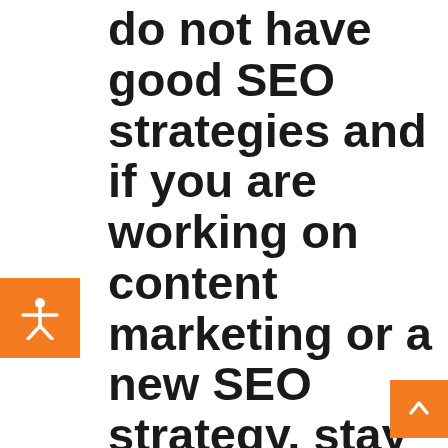do not have good SEO strategies and if you are working on content marketing or a new SEO strategy, stay in line with Google's policies.
[Figure (illustration): Orange square button with white accessibility/person icon (stick figure with arms outstretched)]
Don't let Google trash your site, call us today or fill out our form for free consultation and client examples!
800-788-8596
[Figure (logo): Small broken image placeholder icon followed by text: Orangehat Content Marketing, SEO,]
[Figure (other): Orange scroll-to-top button with white chevron arrow, bottom right corner]